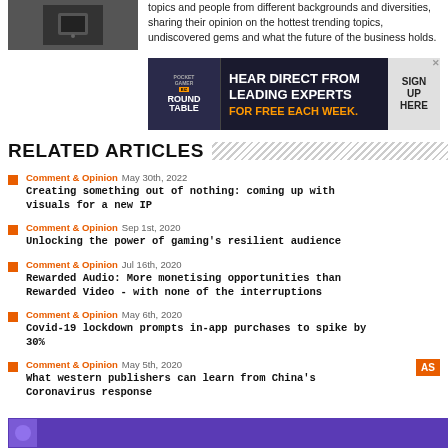[Figure (photo): Small thumbnail image of a dark device]
topics and people from different backgrounds and diversities, sharing their opinion on the hottest trending topics, undiscovered gems and what the future of the business holds.
[Figure (other): Advertisement banner: Pocket Gamer Round Table - HEAR DIRECT FROM LEADING EXPERTS FOR FREE EACH WEEK. SIGN UP HERE.]
RELATED ARTICLES
Comment & Opinion  May 30th, 2022
Creating something out of nothing: coming up with visuals for a new IP
Comment & Opinion  Sep 1st, 2020
Unlocking the power of gaming's resilient audience
Comment & Opinion  Jul 16th, 2020
Rewarded Audio: More monetising opportunities than Rewarded Video - with none of the interruptions
Comment & Opinion  May 6th, 2020
Covid-19 lockdown prompts in-app purchases to spike by 30%
Comment & Opinion  May 5th, 2020
What western publishers can learn from China's Coronavirus response
[Figure (other): Bottom banner image in purple]